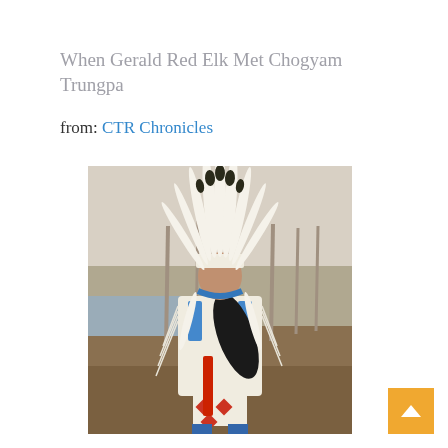When Gerald Red Elk Met Chogyam Trungpa
from: CTR Chronicles
[Figure (photo): A Native American elder wearing full traditional regalia including a large feathered headdress, beaded white fringed jacket, and decorative apron with geometric patterns, standing in front of a nature backdrop with trees and a body of water.]